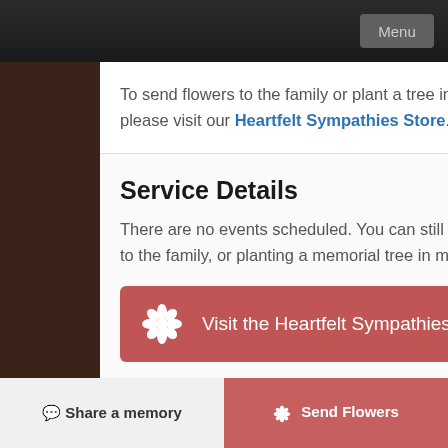Menu
To send flowers to the family or plant a tree in memory of Thelma Jean Arcuri Valerio, please visit our Heartfelt Sympathies Store.
Service Details
There are no events scheduled. You can still show your support by sending flowers directly to the family, or planting a memorial tree in memory of Thelma Jean Arcuri Valerio.
Visit the Heartfelt Sympathies Store
Share a memory   Send Flowers